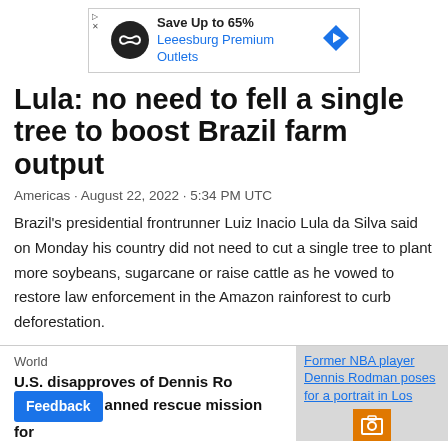[Figure (other): Advertisement banner: Save Up to 65% Leeesburg Premium Outlets with logo and arrow icon]
Lula: no need to fell a single tree to boost Brazil farm output
Americas · August 22, 2022 · 5:34 PM UTC
Brazil's presidential frontrunner Luiz Inacio Lula da Silva said on Monday his country did not need to cut a single tree to plant more soybeans, sugarcane or raise cattle as he vowed to restore law enforcement in the Amazon rainforest to curb deforestation.
World
U.S. disapproves of Dennis Rodman's planned rescue mission for...
[Figure (photo): Former NBA player Dennis Rodman poses for a portrait in Los Angeles]